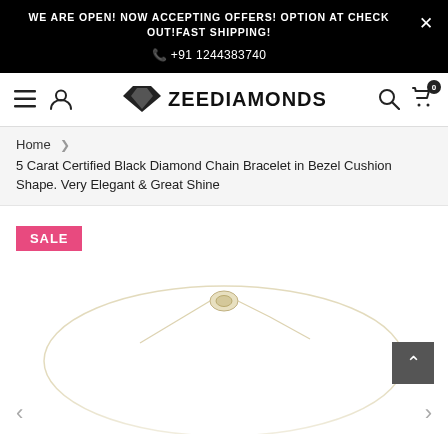WE ARE OPEN! NOW ACCEPTING OFFERS! OPTION AT CHECK OUT!FAST SHIPPING! ✕
📞 +91 1244383740
ZEEDIAMONDS
Home > 5 Carat Certified Black Diamond Chain Bracelet in Bezel Cushion Shape. Very Elegant & Great Shine
[Figure (photo): Product photo of a bracelet with a clasp, on white background, with a pink SALE badge in the upper left corner]